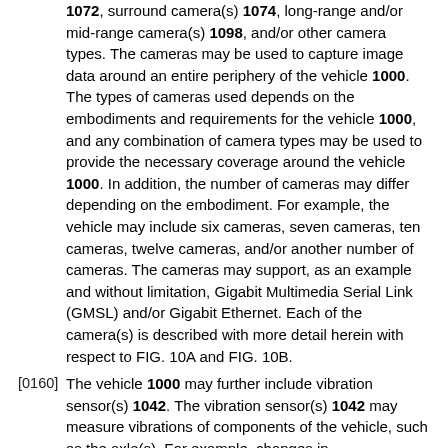1072, surround camera(s) 1074, long-range and/or mid-range camera(s) 1098, and/or other camera types. The cameras may be used to capture image data around an entire periphery of the vehicle 1000. The types of cameras used depends on the embodiments and requirements for the vehicle 1000, and any combination of camera types may be used to provide the necessary coverage around the vehicle 1000. In addition, the number of cameras may differ depending on the embodiment. For example, the vehicle may include six cameras, seven cameras, ten cameras, twelve cameras, and/or another number of cameras. The cameras may support, as an example and without limitation, Gigabit Multimedia Serial Link (GMSL) and/or Gigabit Ethernet. Each of the camera(s) is described with more detail herein with respect to FIG. 10A and FIG. 10B.
[0160] The vehicle 1000 may further include vibration sensor(s) 1042. The vibration sensor(s) 1042 may measure vibrations of components of the vehicle, such as the axle(s). For example, changes in